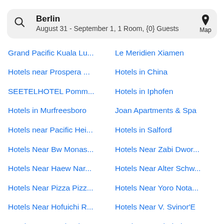Berlin
August 31 - September 1, 1 Room, {0} Guests
Grand Pacific Kuala Lu...
Le Meridien Xiamen
Hotels near Prospera ...
Hotels in China
SEETELHOTEL Pomm...
Hotels in Iphofen
Hotels in Murfreesboro
Joan Apartments & Spa
Hotels near Pacific Hei...
Hotels in Salford
Hotels Near Bw Monas...
Hotels Near Zabi Dwor...
Hotels Near Haew Nar...
Hotels Near Alter Schw...
Hotels Near Pizza Pizz...
Hotels Near Yoro Nota...
Hotels Near Hofuichi R...
Hotels Near V. Svinor'E
Hotels Near J?Nk?Pin...
Hotels Near Kinderhau...
Holiday Inn & Suites - ...
Chill Apartments City C...
Ryokan Sugaya Photo
Hotel Vitoria de Americ...